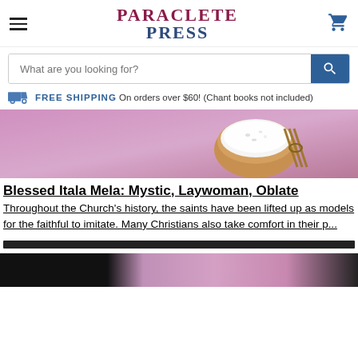Paraclete Press — navigation header with hamburger menu, logo, and cart icon
What are you looking for? [search bar]
FREE SHIPPING On orders over $60! (Chant books not included)
[Figure (photo): Pink/lavender background with wooden bowl of white bath salts and a bundle tied with twine]
Blessed Itala Mela: Mystic, Laywoman, Oblate
Throughout the Church's history, the saints have been lifted up as models for the faithful to imitate. Many Christians also take comfort in their p...
[Figure (photo): Dark strip — bottom partial image, appears to show a floral or textile pattern on dark background]